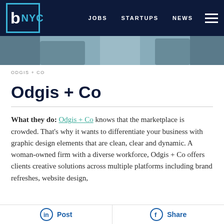b NYC | JOBS  STARTUPS  NEWS
[Figure (photo): Partial photo of people at a workplace or event, cropped to a strip]
ODGIS + CO
Odgis + Co
What they do: Odgis + Co knows that the marketplace is crowded. That's why it wants to differentiate your business with graphic design elements that are clean, clear and dynamic. A woman-owned firm with a diverse workforce, Odgis + Co offers clients creative solutions across multiple platforms including brand refreshes, website design,
Post | Share